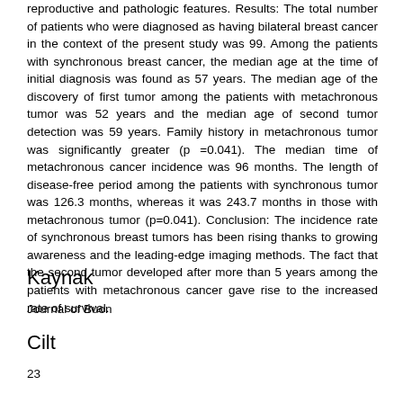reproductive and pathologic features. Results: The total number of patients who were diagnosed as having bilateral breast cancer in the context of the present study was 99. Among the patients with synchronous breast cancer, the median age at the time of initial diagnosis was found as 57 years. The median age of the discovery of first tumor among the patients with metachronous tumor was 52 years and the median age of second tumor detection was 59 years. Family history in metachronous tumor was significantly greater (p =0.041). The median time of metachronous cancer incidence was 96 months. The length of disease-free period among the patients with synchronous tumor was 126.3 months, whereas it was 243.7 months in those with metachronous tumor (p=0.041). Conclusion: The incidence rate of synchronous breast tumors has been rising thanks to growing awareness and the leading-edge imaging methods. The fact that the second tumor developed after more than 5 years among the patients with metachronous cancer gave rise to the increased rate of survival.
Kaynak
Journal of Buon
Cilt
23